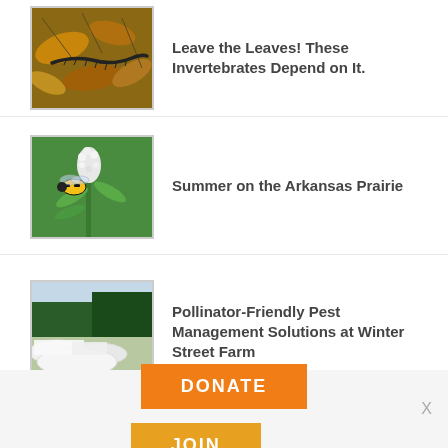Leave the Leaves! These Invertebrates Depend on It.
[Figure (photo): Photo of a millipede crawling among dry autumn leaves and pine needles]
Summer on the Arkansas Prairie
[Figure (photo): Photo of a bumblebee on a white flowering plant with green stems]
Pollinator-Friendly Pest Management Solutions at Winter Street Farm
[Figure (photo): Photo of a farm with white row covers and trees in the background]
DONATE
JOIN
X